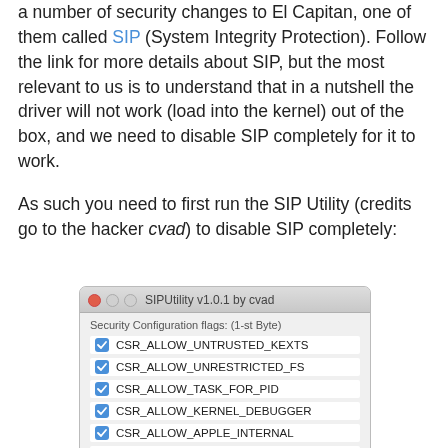a number of security changes to El Capitan, one of them called SIP (System Integrity Protection). Follow the link for more details about SIP, but the most relevant to us is to understand that in a nutshell the driver will not work (load into the kernel) out of the box, and we need to disable SIP completely for it to work.
As such you need to first run the SIP Utility (credits go to the hacker cvad) to disable SIP completely:
[Figure (screenshot): SIPUtility v1.0.1 by cvad window showing Security Configuration flags (1-st Byte) with all checkboxes checked: CSR_ALLOW_UNTRUSTED_KEXTS, CSR_ALLOW_UNRESTRICTED_FS, CSR_ALLOW_TASK_FOR_PID, CSR_ALLOW_KERNEL_DEBUGGER, CSR_ALLOW_APPLE_INTERNAL, CSR_ALLOW_UNRESTRICTED_DTRACE, CSR_ALLOW_UNRESTRICTED_NVRAM, CSR_ALLOW_DEVICE_CONFIGURATION, and csr-active-config: (4 Bytes) at the bottom.]